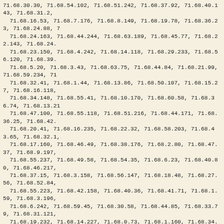71.68.30.30, 71.68.54.102, 71.68.51.242, 71.68.37.92, 71.68.40.143, 71.68.31.2, 71.68.16.53, 71.68.7.176, 71.68.8.149, 71.68.19.78, 71.68.36.23, 71.68.24.88, 7 71.68.24.163, 71.68.44.244, 71.68.63.189, 71.68.45.77, 71.68.22.143, 71.68.24. 71.68.23.150, 71.68.4.242, 71.68.14.118, 71.68.29.233, 71.68.56.120, 71.68.39. 71.68.5.20, 71.68.3.43, 71.68.63.75, 71.68.44.84, 71.68.21.99, 71.68.59.234, 71 71.68.32.41, 71.68.1.44, 71.68.13.86, 71.68.50.107, 71.68.15.27, 71.68.16.118, 71.68.34.148, 71.68.55.41, 71.68.10.170, 71.68.60.58, 71.68.36.74, 71.68.13.21 71.68.47.100, 71.68.55.118, 71.68.51.216, 71.68.44.171, 71.68.36.25, 71.68.42. 71.68.20.41, 71.68.16.235, 71.68.22.32, 71.68.58.203, 71.68.43.65, 71.68.32.1, 71.68.17.160, 71.68.46.49, 71.68.38.176, 71.68.2.80, 71.68.47.37, 71.68.9.197, 71.68.55.237, 71.68.49.58, 71.68.54.35, 71.68.6.23, 71.68.40.80, 71.68.46.217, 71.68.37.15, 71.68.3.158, 71.68.56.147, 71.68.18.48, 71.68.27.56, 71.68.52.84, 71.68.55.223, 71.68.42.158, 71.68.40.36, 71.68.41.71, 71.68.1.59, 71.68.3.196, 71.68.6.242, 71.68.59.45, 71.68.30.58, 71.68.44.85, 71.68.33.79, 71.68.31.121, 71.68.19.232, 71.68.14.227, 71.68.0.73, 71.68.1.160, 71.68.34.20, 71.68.19.239 71.68.52.225, 71.68.27.167, 71.68.5.41, 71.68.6.139, 71.68.32.86, 71.68.0.214, 71.68.63.161, 71.68.42.78, 71.68.57.67, 71.68.6.190, 71.68.35.177, 71.68.15.24 71.68.6.115, 71.68.8.235, 71.68.51.23, 71.68.34.59, 71.68.16.157, 71.68.5.25, 7 71.68.7.136, 71.68.60.88, 71.68.17.138, 71.68.62.161, 71.68.14.28, 71.68.21.69 71.68.10.87, 71.68.14.160, 71.68.6.207, 71.68.13.27, 71.68.10.54, 71.68.41.193 71.68.57.187, 71.68.17.154, 71.68.38.81, 71.68.49.81, 71.68.32.101, 71.68.40.3 71.68.11.35, 71.68.62.62, 71.68.50.211, 71.68.43.202, 71.68.9.130, 71.68.45.89 71.68.52.170, 71.68.23.63, 71.68.13.118, 71.68.14.234, 71.68.42.209, 71.68.56. 71.68.7.35, 71.68.28.47, 71.68.52.34, 71.68.5.52, 71.68.39.248, 71.68.46.103, 7 71.68.30.0, 71.68.44.166, 71.68.9.75, 71.68.19.187, 71.68.17.178, 71.68.40.175 71.68.40.137, 71.68.6.4, 71.68.30.126, 71.68.46.219, 71.68.42.132, 71.68.37.96 71.68.37.191, 71.68.51.186, 71.68.1.243, 71.68.54.165, 71.68.26.133, 71.68.19 71.68.22.22, 71.68.9.253, 71.68.44.31, 71.68.44.154, 71.68.54.131, 71.68.52.10 71.68.49.153, 71.68.8.88, 71.68.18.252, 71.68.30.239, 71.68.23.145, 71.68.6.13 71.68.36.77, 71.68.45.101, 71.68.16.6, 71.68.51.97, 71.68.9.139, 71.68.48.218, 71.68.23.130, 71.68.16.48, 71.68.11.5, 71.68.26.120, 71.68.25.96, 71.68.37.105 71.68.40.63, 71.68.0.27, 71.68.38.102, 71.68.15.38, 71.68.2.15, 71.68.17.28, 71 71.68.11.97, 71.68.41.222, 71.68.22.99, 71.68.29.59, 71.68.42.67, 71.68.16.40